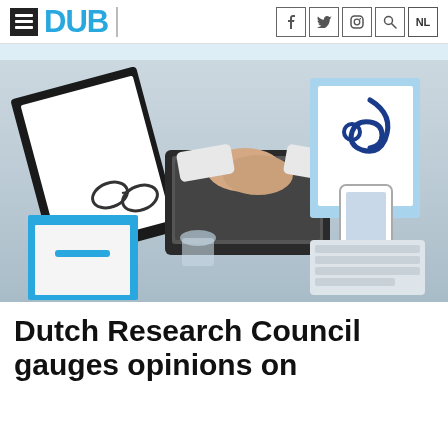DUB
[Figure (photo): Overhead view of a doctor/researcher in white coat typing on a laptop at a desk with clipboard, glasses, stethoscope, smartphone, keyboard, notepad, and pen]
Dutch Research Council gauges opinions on